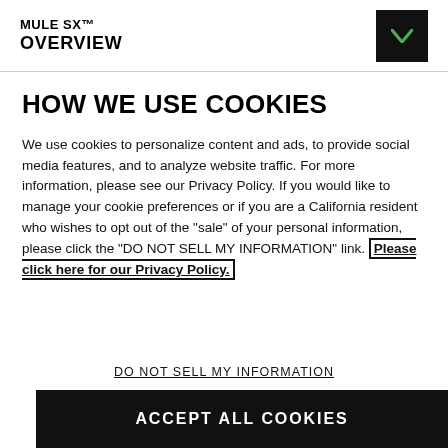MULE SX™ OVERVIEW
HOW WE USE COOKIES
We use cookies to personalize content and ads, to provide social media features, and to analyze website traffic. For more information, please see our Privacy Policy. If you would like to manage your cookie preferences or if you are a California resident who wishes to opt out of the "sale" of your personal information, please click the "DO NOT SELL MY INFORMATION" link. Please click here for our Privacy Policy.
DO NOT SELL MY INFORMATION
ACCEPT ALL COOKIES